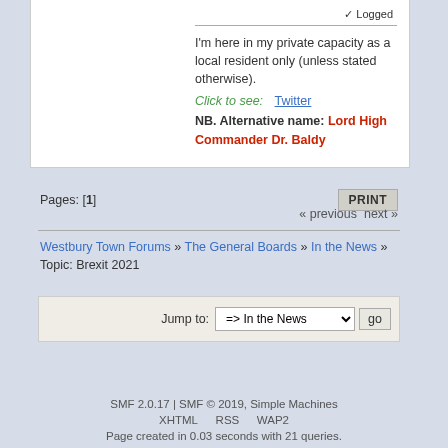✓ Logged
I'm here in my private capacity as a local resident only (unless stated otherwise).
Click to see:   Twitter
NB. Alternative name: Lord High Commander Dr. Baldy
Pages: [1]
« previous next »
Westbury Town Forums » The General Boards » In the News »
Topic: Brexit 2021
Jump to: => In the News  go
SMF 2.0.17 | SMF © 2019, Simple Machines
XHTML   RSS   WAP2
Page created in 0.03 seconds with 21 queries.